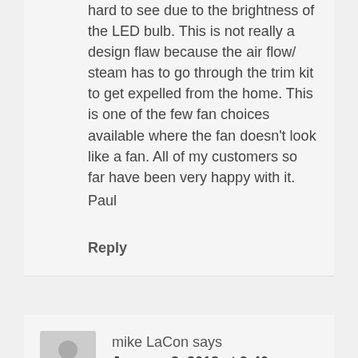hard to see due to the brightness of the LED bulb. This is not really a design flaw because the air flow/ steam has to go through the trim kit to get expelled from the home. This is one of the few fan choices available where the fan doesn't look like a fan. All of my customers so far have been very happy with it.
Paul
Reply
mike LaCon says
January 2, 2018 at 9:40 pm